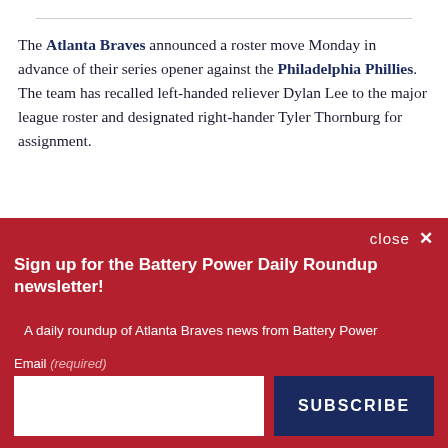The Atlanta Braves announced a roster move Monday in advance of their series opener against the Philadelphia Phillies. The team has recalled left-handed reliever Dylan Lee to the major league roster and designated right-hander Tyler Thornburg for assignment.
close ×
Sign up for the Battery Power Daily Roundup newsletter!
A daily roundup of Atlanta Braves news from Battery Power
Email (required)
SUBSCRIBE
By submitting your email, you agree to our Terms and Privacy Notice. You can opt out at any time. This site is protected by reCAPTCHA and the Google Privacy Policy and Terms of Service apply.